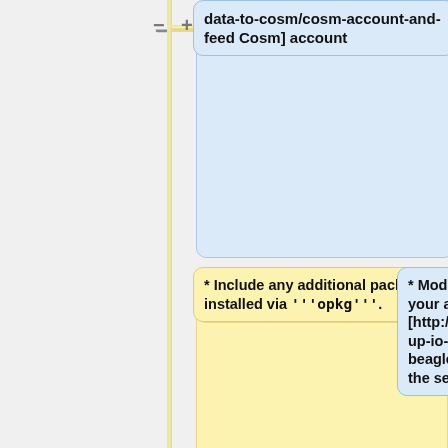[Figure (flowchart): A flowchart/tree diagram showing nodes connected by a vertical yellow line with plus and minus connectors. Top right blue node: 'data-to-cosm/cosm-account-and-feed Cosm] account'. Middle left yellow node: '* Include any additional packages installed via opkg.'. Middle right blue node: '* Modify the Wattcher.py to use your account and the [http://learn.adafruit.com/setting-up-io-python-library-on-beaglebone-black/uart UART] as the serial port'. Bottom left yellow node: '* Include kernel mods.'. Bottom yellow node (partial): '* If there is extra hardwar...']